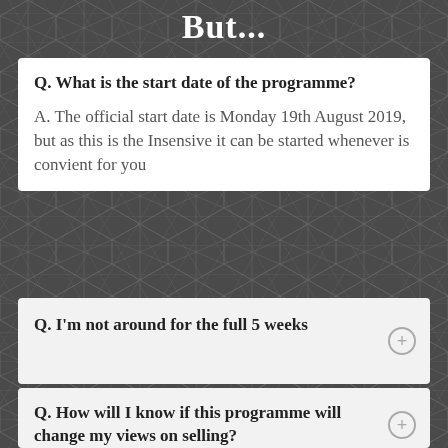But...
Q. What is the start date of the programme?

A. The official start date is Monday 19th August 2019, but as this is the Insensive it can be started whenever is convient for you
Q. I'm not around for the full 5 weeks
Q. How will I know if this programme will change my views on selling?